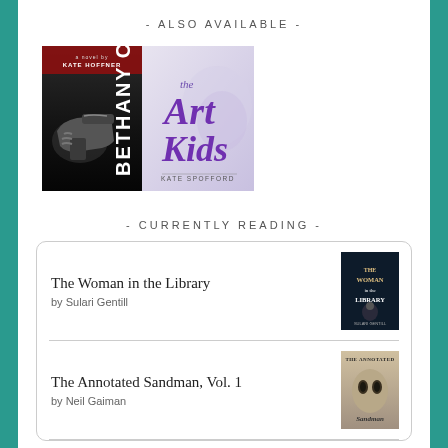- ALSO AVAILABLE -
[Figure (illustration): Two book covers side by side: left is a dark thriller cover with a gun and 'Bethany Caleb' text in white; right is 'The Art Kids' by Kate Spofford with purple script title on light background]
- CURRENTLY READING -
The Woman in the Library
by Sulari Gentill
The Annotated Sandman, Vol. 1
by Neil Gaiman